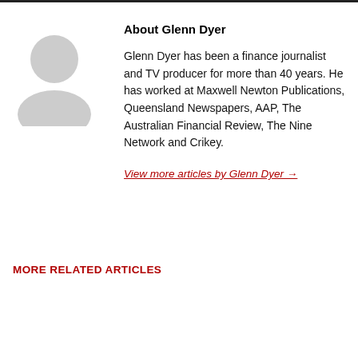[Figure (illustration): Circular avatar/profile image placeholder for Glenn Dyer, shown as a grey silhouette icon]
About Glenn Dyer
Glenn Dyer has been a finance journalist and TV producer for more than 40 years. He has worked at Maxwell Newton Publications, Queensland Newspapers, AAP, The Australian Financial Review, The Nine Network and Crikey.
View more articles by Glenn Dyer →
MORE RELATED ARTICLES